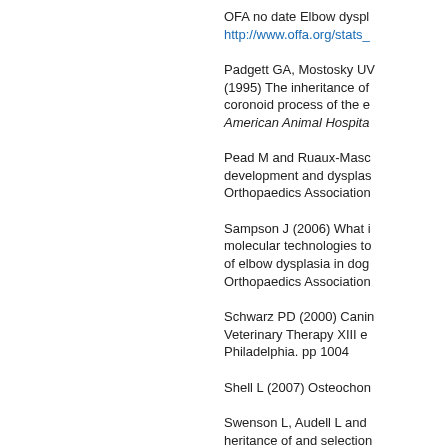OFA no date Elbow dyspl... http://www.offa.org/stats_
Padgett GA, Mostosky UV (1995) The inheritance of coronoid process of the e... American Animal Hospita...
Pead M and Ruaux-Masc... development and dysplas... Orthopaedics Association
Sampson J (2006) What i... molecular technologies to... of elbow dysplasia in dog... Orthopaedics Association
Schwarz PD (2000) Canin... Veterinary Therapy XIII e... Philadelphia. pp 1004
Shell L (2007) Osteochon...
Swenson L, Audell L and ... heritance of and selection... dogs in Sweden and bene...